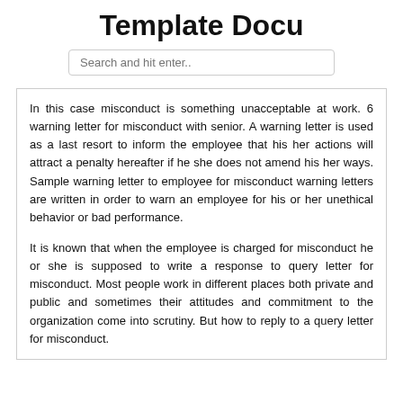Template Docu
Search and hit enter..
In this case misconduct is something unacceptable at work. 6 warning letter for misconduct with senior. A warning letter is used as a last resort to inform the employee that his her actions will attract a penalty hereafter if he she does not amend his her ways. Sample warning letter to employee for misconduct warning letters are written in order to warn an employee for his or her unethical behavior or bad performance.
It is known that when the employee is charged for misconduct he or she is supposed to write a response to query letter for misconduct. Most people work in different places both private and public and sometimes their attitudes and commitment to the organization come into scrutiny. But how to reply to a query letter for misconduct.